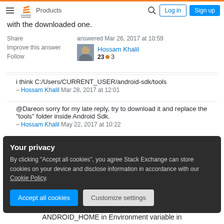Stack Overflow — Products | Log in | Sign up
with the downloaded one.
Share  Improve this answer  Follow
answered Mar 26, 2017 at 10:59
Hossam Khalil
23 ● 3
i think C:/Users/CURRENT_USER/android-sdk/tools
– Hossam Khalil Mar 28, 2017 at 12:01
@Dareon sorry for my late reply, try to download it and replace the "tools" folder inside Android Sdk.
– Hossam Khalil May 22, 2017 at 10:22
Your privacy
By clicking "Accept all cookies", you agree Stack Exchange can store cookies on your device and disclose information in accordance with our Cookie Policy.
Accept all cookies   Customize settings
ANDROID_HOME in Environment variable in